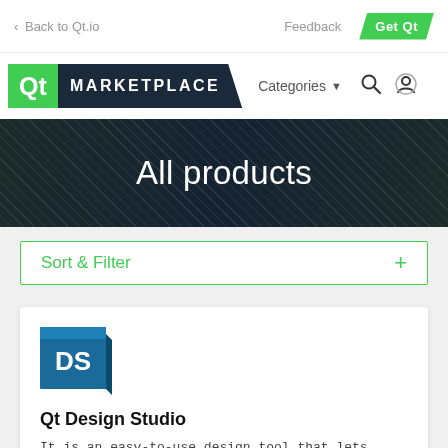< Back to Qt.io   Feedback   Get Qt
[Figure (logo): Qt Marketplace logo with green Qt icon and dark blue MARKETPLACE text]
Categories ▼
All products
Sort & Filter   +
[Figure (logo): DS logo — blue/teal square with white DS text and shadow bevel]
Qt Design Studio
It is an easy-to-use design tool that lets designers import designs to Qt, animate them, test them live on the target